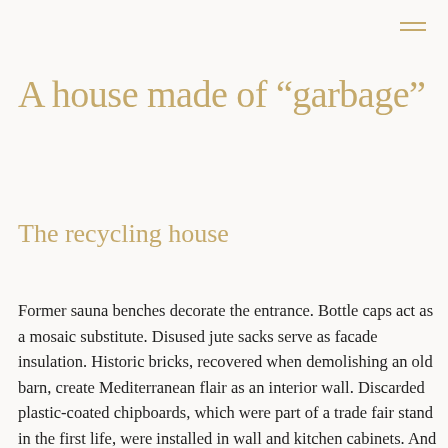A house made of “garbage”
The recycling house
Former sauna benches decorate the entrance. Bottle caps act as a mosaic substitute. Disused jute sacks serve as facade insulation. Historic bricks, recovered when demolishing an old barn, create Mediterranean flair as an interior wall. Discarded plastic-coated chipboards, which were part of a trade fair stand in the first life, were installed in wall and kitchen cabinets. And on one part of the room doors, the advertising message of a trade fair construction customer is denounced in a loud cyan. A collected pile of “rubbish”, from which Germany’s first…